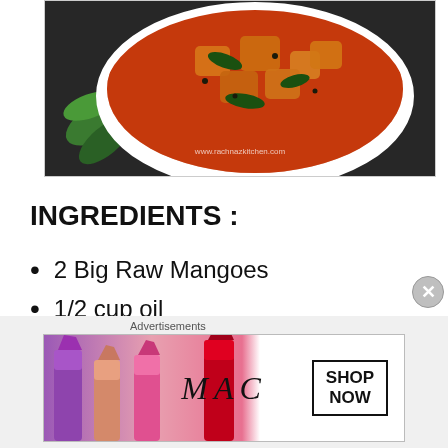[Figure (photo): A white bowl containing mango pickle/chutney in red-orange oil sauce with curry leaves and spices, on a dark background with green leaves. Watermark: www.rachnaskitchen.com]
INGREDIENTS :
2 Big Raw Mangoes
1/2 cup oil
1 tbsp mustard seeds
1 tsp Asafoetida
[Figure (photo): MAC cosmetics advertisement showing lipsticks in purple, pink shades with MAC logo and SHOP NOW button.]